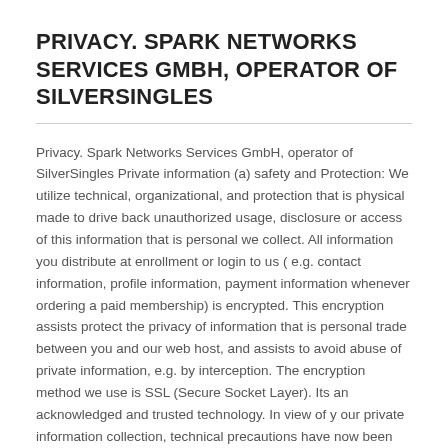PRIVACY. SPARK NETWORKS SERVICES GMBH, OPERATOR OF SILVERSINGLES
Privacy. Spark Networks Services GmbH, operator of SilverSingles Private information (a) safety and Protection: We utilize technical, organizational, and protection that is physical made to drive back unauthorized usage, disclosure or access of this information that is personal we collect. All information you distribute at enrollment or login to us ( e.g. contact information, profile information, payment information whenever ordering a paid membership) is encrypted. This encryption assists protect the privacy of information that is personal trade between you and our web host, and assists to avoid abuse of private information, e.g. by interception. The encryption method we use is SSL (Secure Socket Layer). Its an acknowledged and trusted technology. In view of y our private information collection, technical precautions have now been taken up to store your private information in a protected environment. Usage of